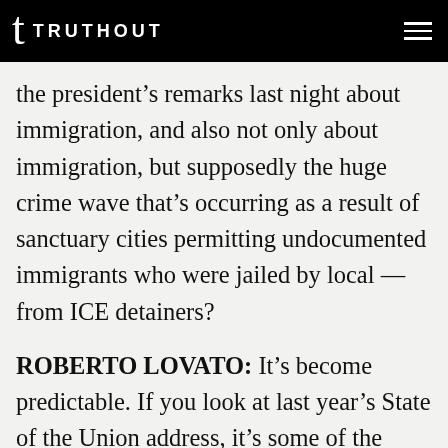TRUTHOUT
the president's remarks last night about immigration, and also not only about immigration, but supposedly the huge crime wave that's occurring as a result of sanctuary cities permitting undocumented immigrants who were jailed by local — from ICE detainers?
ROBERTO LOVATO: It's become predictable. If you look at last year's State of the Union address, it's some of the same tropes, same criminals, same immigrants, stealing jobs. I mean, this is tried-and-true for them, and the